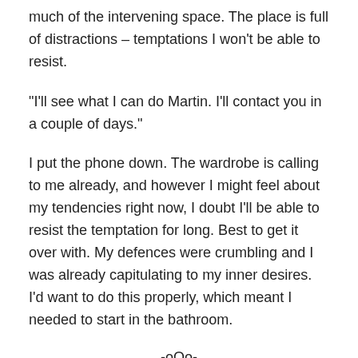much of the intervening space. The place is full of distractions – temptations I won't be able to resist.
“I'll see what I can do Martin. I'll contact you in a couple of days.”
I put the phone down. The wardrobe is calling to me already, and however I might feel about my tendencies right now, I doubt I'll be able to resist the temptation for long. Best to get it over with. My defences were crumbling and I was already capitulating to my inner desires. I’d want to do this properly, which meant I needed to start in the bathroom.
-oOo-